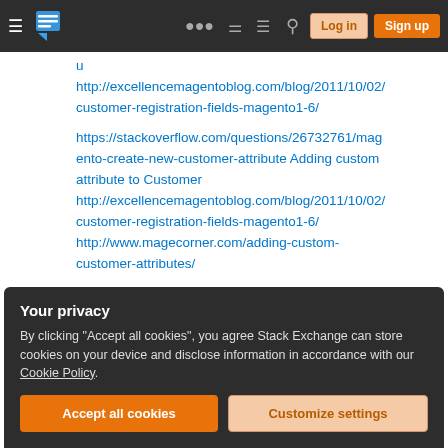Stack Exchange navigation bar with Log in and Sign up buttons
http://excellencemagentoblog.com/blog/2011/10/02/customer-registration-fields-magento1-6/
https://stackoverflow.com/questions/26732761/magento-create-new-customer-attribute Adding custom attribute to Customer http://excellencemagentoblog.com/blog/2011/10/02/customer-registration-fields-magento1-6/ http://www.magecorner.com/adding-custom-customer-attributes/
Your privacy
By clicking "Accept all cookies", you agree Stack Exchange can store cookies on your device and disclose information in accordance with our Cookie Policy.
Accept all cookies   Customize settings